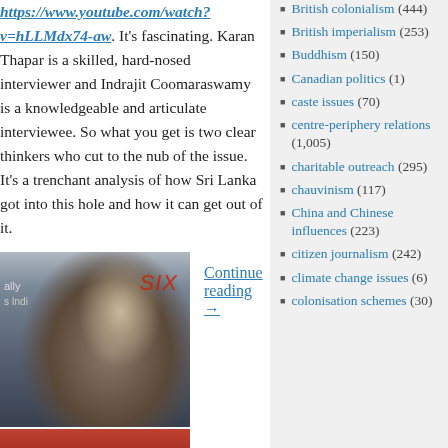https://www.youtube.com/watch?v=hLLMdx74-aw. It's fascinating. Karan Thapar is a skilled, hard-nosed interviewer and Indrajit Coomaraswamy is a knowledgeable and articulate interviewee. So what you get is two clear thinkers who cut to the nub of the issue. It's a trenchant analysis of how Sri Lanka got into this hole and how it can get out of it.
Continue reading →
[Figure (photo): Photo of a man in a suit speaking into a microphone at an event, with a SIX logo visible in the background]
[Figure (photo): Photo of a grey-haired man with glasses against a red/dark background]
British colonialism (444)
British imperialism (253)
Buddhism (150)
Canadian politics (1)
caste issues (70)
centre-periphery relations (1,005)
charitable outreach (295)
chauvinism (117)
China and Chinese influences (223)
citizen journalism (242)
climate change issues (6)
colonisation schemes (30)